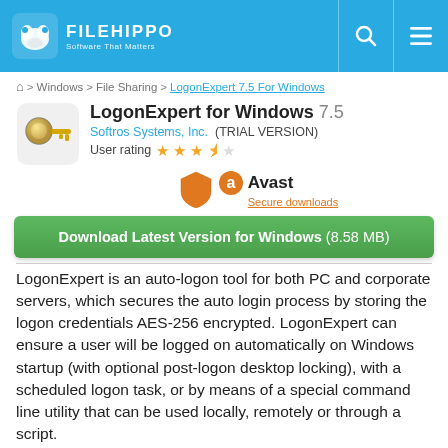FILEHIPPO — Software That Matters
🏠 > Windows > File Sharing > LogonExpert 7.5 For Windows
LogonExpert for Windows 7.5
Softros Systems, Inc.  (TRIAL VERSION)
User rating ★★★½☆
[Figure (logo): Avast shield logo with text 'Avast' and 'Secure downloads' link]
Download Latest Version for Windows (8.58 MB)
LogonExpert is an auto-logon tool for both PC and corporate servers, which secures the auto login process by storing the logon credentials AES-256 encrypted. LogonExpert can ensure a user will be logged on automatically on Windows startup (with optional post-logon desktop locking), with a scheduled logon task, or by means of a special command line utility that can be used locally, remotely or through a script.